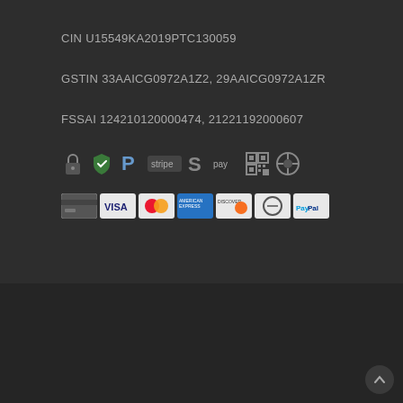Granniez Green
CIN U15549KA2019PTC130059
GSTIN 33AAICG0972A1Z2, 29AAICG0972A1ZR
FSSAI 124210120000474, 21221192000607
[Figure (infographic): Row of payment security icons: padlock, verified shield, PayPal, Stripe, Skrill, Amazon Pay, QR code, Chrome]
[Figure (infographic): Row of payment method card icons: generic card, Visa, Mastercard, American Express, Discover, Diners Club, PayPal]
© 2022 Granniez Green Herbs. By using this website you agree to our terms and conditions.
[Figure (infographic): Social media icons: Twitter, Facebook, LinkedIn, Instagram, Telegram, WhatsApp, Messenger, Email]